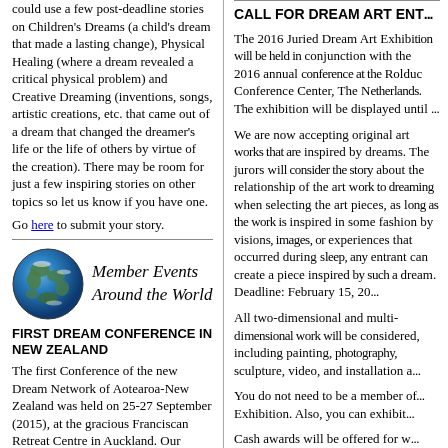could use a few post-deadline stories on Children's Dreams (a child's dream that made a lasting change), Physical Healing (where a dream revealed a critical physical problem) and Creative Dreaming (inventions, songs, artistic creations, etc. that came out of a dream that changed the dreamer's life or the life of others by virtue of the creation). There may be room for just a few inspiring stories on other topics so let us know if you have one.
Go here to submit your story.
[Figure (photo): Photo of Earth from space (globe)]
Member Events Around the World
FIRST DREAM CONFERENCE IN NEW ZEALAND
The first Conference of the new Dream Network of Aotearoa-New Zealand was held on 25-27 September (2015), at the gracious Franciscan Retreat Centre in Auckland. Our theme of "Dreams and Spirituality" drew 40 keen participants.
CALL FOR DREAM ART ENTRIES
The 2016 Juried Dream Art Exhibition will be held in conjunction with the 2016 annual conference at the Rolduc Conference Center, The Netherlands. The exhibition will be displayed until ...
We are now accepting original art works that are inspired by dreams. The jurors will consider the story about the relationship of the art work to dreaming when selecting the art pieces, as long as the work is inspired in some fashion by visions, images, or experiences that occurred during sleep, any entrant can create a piece inspired by such a dream. Deadline: February 15, 20...
All two-dimensional and multi-dimensional work will be considered, including painting, photography, sculpture, video, and installation a...
You do not need to be a member of... Exhibition. Also, you can exhibit...
Cash awards will be offered for w... Information regarding entry requi...
Entry information is also availabl...